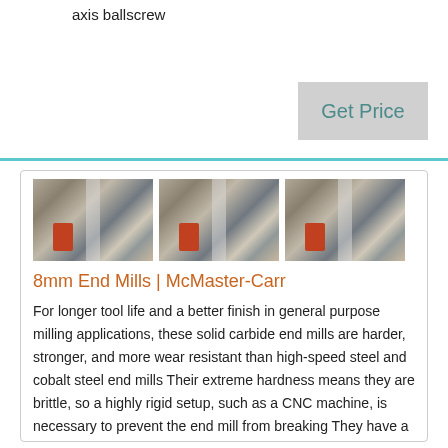axis ballscrew
Get Price
[Figure (photo): Three industrial machinery/factory interior photographs shown side by side]
8mm End Mills | McMaster-Carr
For longer tool life and a better finish in general purpose milling applications, these solid carbide end mills are harder, stronger, and more wear resistant than high-speed steel and cobalt steel end mills Their extreme hardness means they are brittle, so a highly rigid setup, such as a CNC machine, is necessary to prevent the end mill from breaking They have a square end for milling square ,